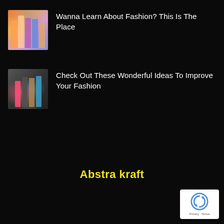[Figure (photo): Thumbnail image of fashion models in colorful outfits]
Wanna Learn About Fashion? This Is The Place
[Figure (photo): Thumbnail image of group of people in casual street fashion]
Check Out These Wonderful Ideas To Improve Your Fashion
Abstra kraft
[Figure (logo): Google reCAPTCHA badge with Privacy and Terms links]